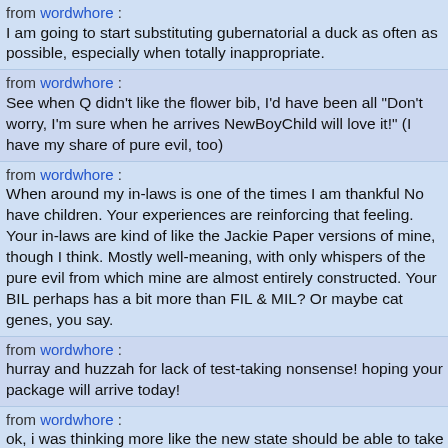from wordwhore : I am going to start substituting gubernatorial a duck as often as possible, especially when totally inappropriate.
from wordwhore : See when Q didn't like the flower bib, I'd have been all "Don't worry, I'm sure when he arrives NewBoyChild will love it!" (I have my share of pure evil, too)
from wordwhore : When around my in-laws is one of the times I am thankful No have children. Your experiences are reinforcing that feeling. Your in-laws are kind of like the Jackie Paper versions of mine, though I think. Mostly well-meaning, with only whispers of the pure evil from which mine are almost entirely constructed. Your BIL perhaps has a bit more than FIL & MIL? Or maybe cat genes, you say.
from wordwhore : hurray and huzzah for lack of test-taking nonsense! hoping your package will arrive today!
from wordwhore : ok, i was thinking more like the new state should be able to take the number and look it up to prove you have a valid current license.
from wordwhore : do you know your DL number? because if so i think you sh